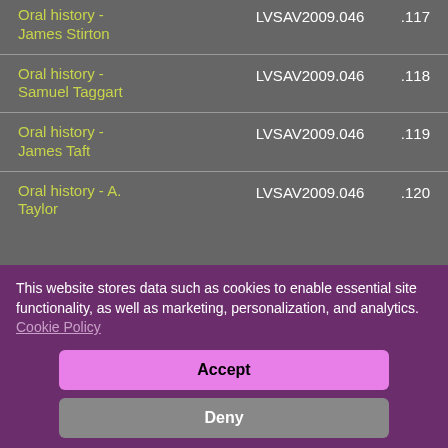| Title | ID | Number |
| --- | --- | --- |
| Oral history - James Stirton | LVSAV2009.046 | .117 |
| Oral history - Samuel Taggart | LVSAV2009.046 | .118 |
| Oral history - James Taft | LVSAV2009.046 | .119 |
| Oral history - A. Taylor | LVSAV2009.046 | .120 |
This website stores data such as cookies to enable essential site functionality, as well as marketing, personalization, and analytics. Cookie Policy
Accept
Deny